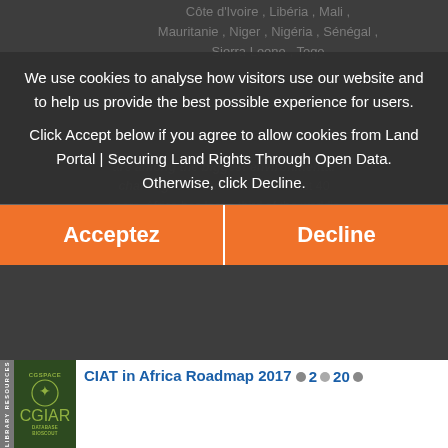Côte d'Ivoire , Libéria , Mali , Mauritanie , Niger , Nigéria , Sénégal , Sierra Leone , Togo
are among the biggest environmental challenges of our time. In the last 40 years, Africa has lost a third of the world's arable farmland due to erosion, just as
We use cookies to analyse how visitors use our website and to help us provide the best possible experience for users.

Click Accept below if you agree to allow cookies from Land Portal | Securing Land Rights Through Open Data. Otherwise, click Decline.
[Figure (screenshot): Cookie consent overlay with Acceptez and Decline buttons over Land Portal website showing CIAT in Africa Roadmap 2017-2020 content]
CIAT in Africa Roadmap 2017●2●20●
Kenya , Nigeria , Ouganda , Burundi , Madagascar , Zimbabwe , République-Unie de Tanzanie , Soudan , Ghana , Éthiopie , Malawi , Afrique sub-saharienne , Afrique , Afrique orientale
Our goal is to provide the scientific basis for development investments and policies that promote more productive,